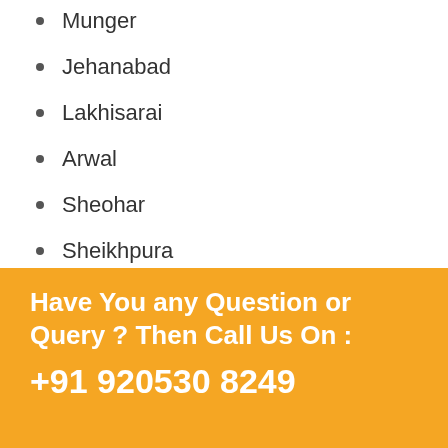Munger
Jehanabad
Lakhisarai
Arwal
Sheohar
Sheikhpura
Have You any Question or Query ? Then Call Us On :
+91 920530 8249